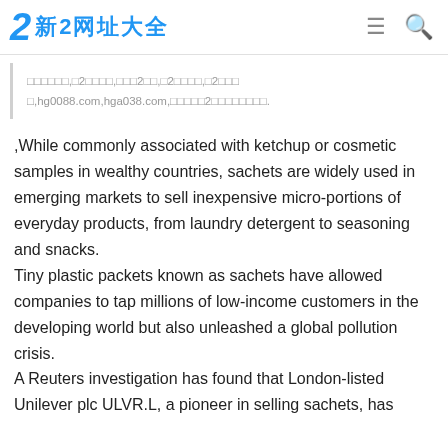新2网址大全
□□□□□□,□2□□□□,□□□2□□,□2□□□□,□2□□□ □,hg0088.com,hga038.com,□□□□□2□□□□□□□□.
,While commonly associated with ketchup or cosmetic samples in wealthy countries, sachets are widely used in emerging markets to sell inexpensive micro-portions of everyday products, from laundry detergent to seasoning and snacks.
Tiny plastic packets known as sachets have allowed companies to tap millions of low-income customers in the developing world but also unleashed a global pollution crisis.
A Reuters investigation has found that London-listed Unilever plc ULVR.L, a pioneer in selling sachets, has